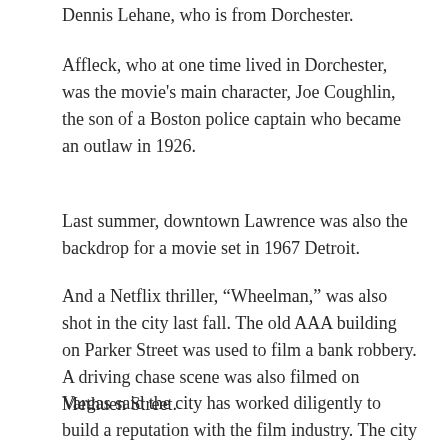Dennis Lehane, who is from Dorchester.
Affleck, who at one time lived in Dorchester, was the movie’s main character, Joe Coughlin, the son of a Boston police captain who became an outlaw in 1926.
Last summer, downtown Lawrence was also the backdrop for a movie set in 1967 Detroit.
And a Netflix thriller, “Wheelman,” was also shot in the city last fall. The old AAA building on Parker Street was used to film a bank robbery. A driving chase scene was also filmed on Methuen Street.
Vargas said the city has worked diligently to build a reputation with the film industry. The city does